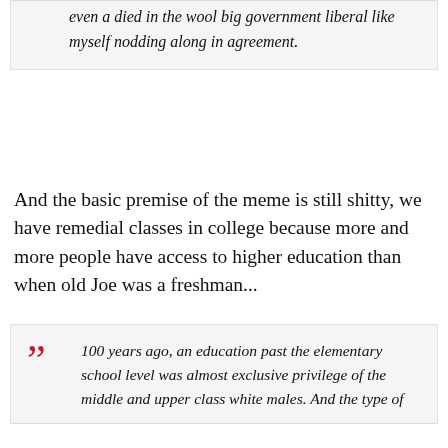even a died in the wool big government liberal like myself nodding along in agreement.
And the basic premise of the meme is still shitty, we have remedial classes in college because more and more people have access to higher education than when old Joe was a freshman...
100 years ago, an education past the elementary school level was almost exclusive privilege of the middle and upper class white males. And the type of